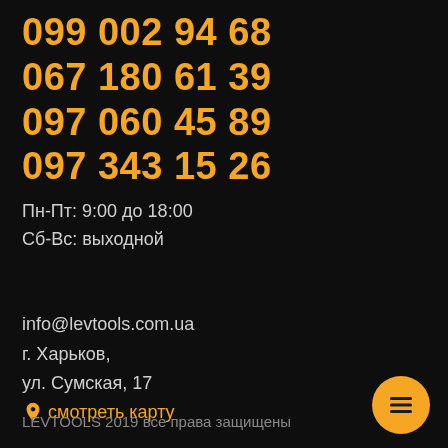099 002 94 68
067 180 61 39
097 060 45 89
097 343 15 26
Пн-Пт: 9:00 до 18:00
Сб-Вс: выходной
info@levtools.com.ua
г. Харьков,
ул. Сумская, 17
смотреть карту
LEVTOOLS 2019 все права защищены